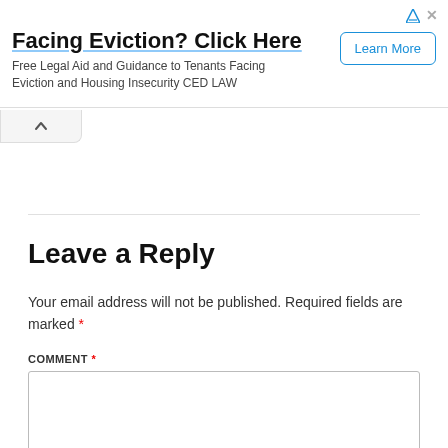[Figure (other): Advertisement banner: 'Facing Eviction? Click Here' with subtext 'Free Legal Aid and Guidance to Tenants Facing Eviction and Housing Insecurity CED LAW' and a 'Learn More' button]
Leave a Reply
Your email address will not be published. Required fields are marked *
COMMENT *